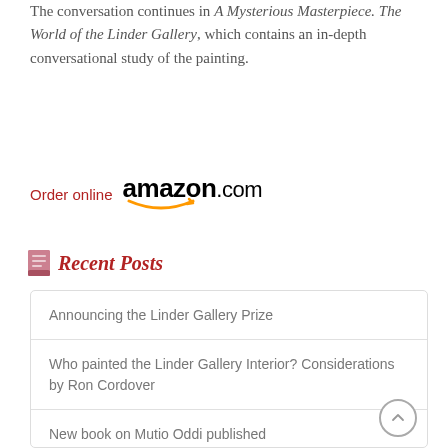The conversation continues in A Mysterious Masterpiece. The World of the Linder Gallery, which contains an in-depth conversational study of the painting.
Order online amazon.com
Recent Posts
Announcing the Linder Gallery Prize
Who painted the Linder Gallery Interior? Considerations by Ron Cordover
New book on Mutio Oddi published
Review of A Mysterious Masterpiece in Leonardo